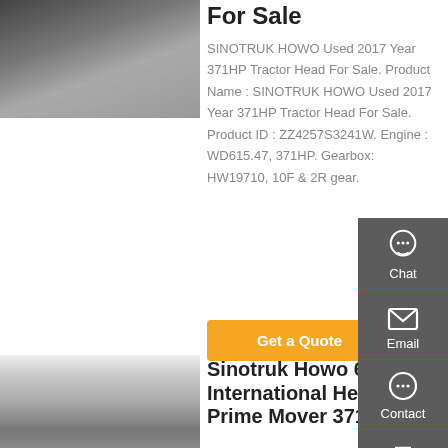[Figure (photo): Partial view of a SINOTRUK HOWO tractor truck head, top portion cropped]
For Sale
SINOTRUK HOWO Used 2017 Year 371HP Tractor Head For Sale. Product Name : SINOTRUK HOWO Used 2017 Year 371HP Tractor Head For Sale. Product ID : ZZ4257S3241W. Engine : WD615.47, 371HP. Gearbox: HW19710, 10F & 2R gear.
Get a Quote
[Figure (photo): White Sinotruk Howo 6x4 truck parked outdoors with trees in background]
Sinotruk Howo 6x4 International Head Prime Mover 371hp